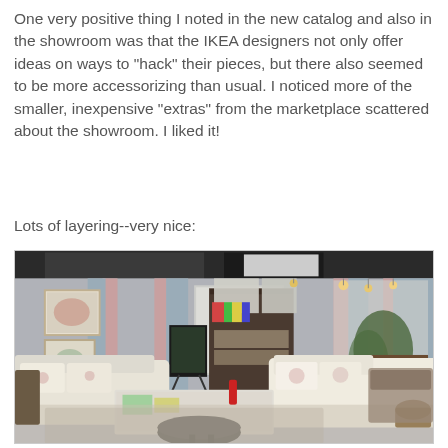One very positive thing I noted in the new catalog and also in the showroom was that the IKEA designers not only offer ideas on ways to "hack" their pieces, but there also seemed to be more accessorizing than usual. I noticed more of the smaller, inexpensive "extras" from the marketplace scattered about the showroom. I liked it!
Lots of layering--very nice:
[Figure (photo): Interior photo of an IKEA showroom featuring a cozy living room setup with sofas, curtains, bookshelves, a chalkboard, a coffee table, and decorative accessories.]